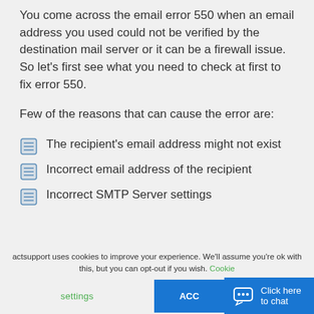You come across the email error 550 when an email address you used could not be verified by the destination mail server or it can be a firewall issue. So let's first see what you need to check at first to fix error 550.
Few of the reasons that can cause the error are:
The recipient's email address might not exist
Incorrect email address of the recipient
Incorrect SMTP Server settings
actsupport uses cookies to improve your experience. We'll assume you're ok with this, but you can opt-out if you wish. Cookie settings ACC Click here to chat